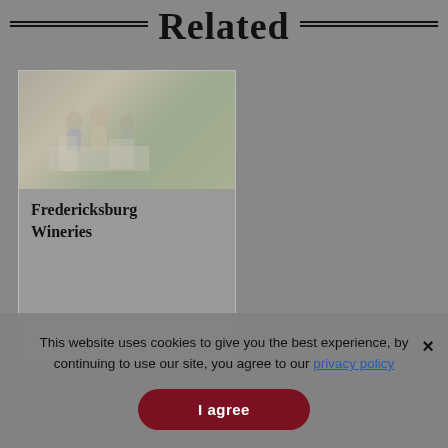Related
[Figure (photo): Card thumbnail showing people outdoors near a building, faded/muted photo style]
Fredericksburg Wineries
This website uses cookies to give you the best experience, by continuing to use our site, you agree to our privacy policy
I agree